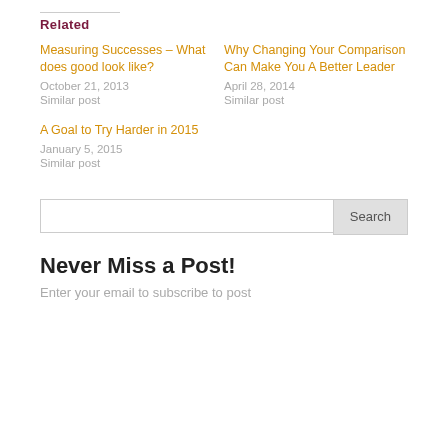Related
Measuring Successes – What does good look like?
October 21, 2013
Similar post
Why Changing Your Comparison Can Make You A Better Leader
April 28, 2014
Similar post
A Goal to Try Harder in 2015
January 5, 2015
Similar post
Search
Never Miss a Post!
Enter your email to subscribe to post